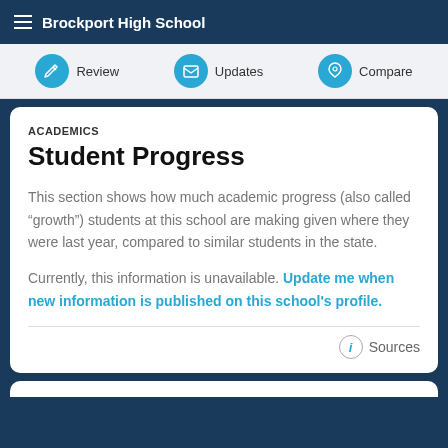Brockport High School
[Figure (screenshot): Navigation bar with Review, Updates, and Compare action buttons with circular teal icons]
ACADEMICS
Student Progress
This section shows how much academic progress (also called “growth”) students at this school are making given where they were last year, compared to similar students in the state.
Currently, this information is unavailable. Update me when new information is published on this school's profile.